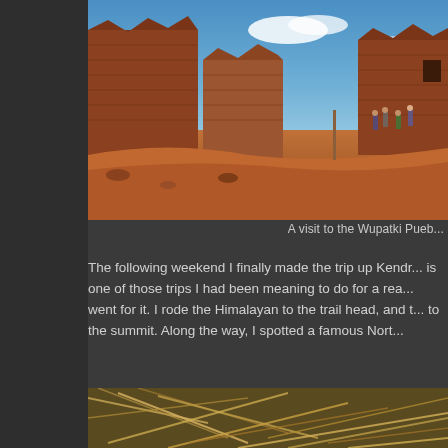[Figure (photo): Ancient Wupatki Pueblo ruins made of red sandstone blocks under a blue sky, with tourists visible on the right side of the ruins.]
A visit to the Wupatki Pueb...
The following weekend I finally made the trip up Kendr... is one of those trips I had been meaning to do for a rea... went for it. I rode the Himalayan to the trail head, and t... to the summit. Along the way, I spotted a famous North...
[Figure (photo): Close-up photo of dried grass or straw and natural debris on the ground.]